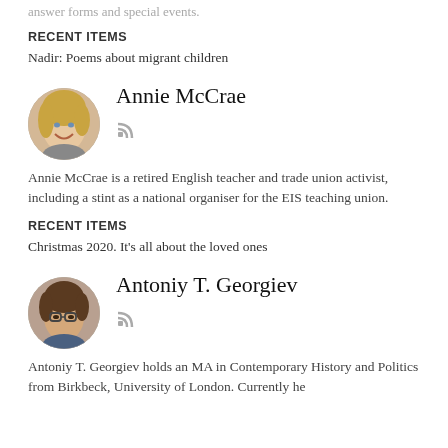answer forms and special events.
RECENT ITEMS
Nadir: Poems about migrant children
[Figure (photo): Circular profile photo of Annie McCrae, a woman with short blonde hair, smiling]
Annie McCrae
Annie McCrae is a retired English teacher and trade union activist, including a stint as a national organiser for the EIS teaching union.
RECENT ITEMS
Christmas 2020. It’s all about the loved ones
[Figure (photo): Circular profile photo of Antoniy T. Georgiev, a young man with glasses and short brown hair]
Antoniy T. Georgiev
Antoniy T. Georgiev holds an MA in Contemporary History and Politics from Birkbeck, University of London. Currently he